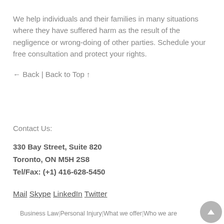We help individuals and their families in many situations where they have suffered harm as the result of the negligence or wrong-doing of other parties. Schedule your free consultation and protect your rights.
← Back | Back to Top ↑
Contact Us:
330 Bay Street, Suite 820
Toronto, ON M5H 2S8
Tel/Fax: (+1) 416-628-5450
Mail  Skype  LinkedIn  Twitter
Business Law | Personal Injury | What we offer | Who we are